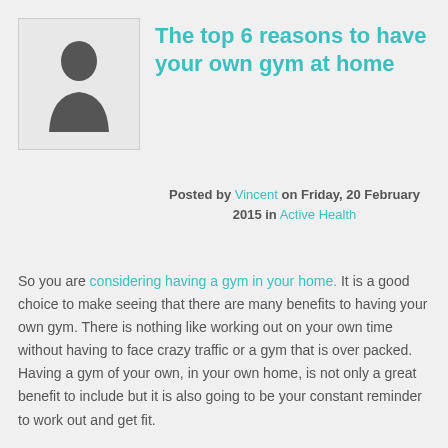[Figure (illustration): Generic avatar/silhouette placeholder image of a person, shown in a light grey bordered box]
The top 6 reasons to have your own gym at home
Posted by Vincent on Friday, 20 February 2015 in Active Health
So you are considering having a gym in your home. It is a good choice to make seeing that there are many benefits to having your own gym. There is nothing like working out on your own time without having to face crazy traffic or a gym that is over packed. Having a gym of your own, in your own home, is not only a great benefit to include but it is also going to be your constant reminder to work out and get fit.